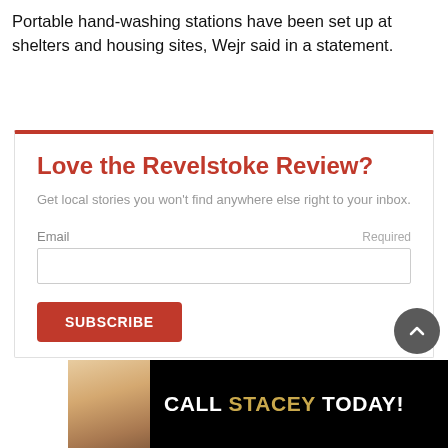Portable hand-washing stations have been set up at shelters and housing sites, Wejr said in a statement.
Love the Revelstoke Review?
Get local stories you won't find anywhere else right to your inbox.
Email  Required
[Figure (screenshot): Email input field for newsletter subscription]
[Figure (screenshot): SUBSCRIBE button in red]
[Figure (infographic): Advertisement banner with text CALL STACEY TODAY! on black background with woman photo]